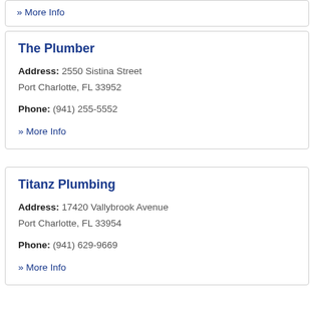» More Info
The Plumber
Address: 2550 Sistina Street
Port Charlotte, FL 33952
Phone: (941) 255-5552
» More Info
Titanz Plumbing
Address: 17420 Vallybrook Avenue
Port Charlotte, FL 33954
Phone: (941) 629-9669
» More Info